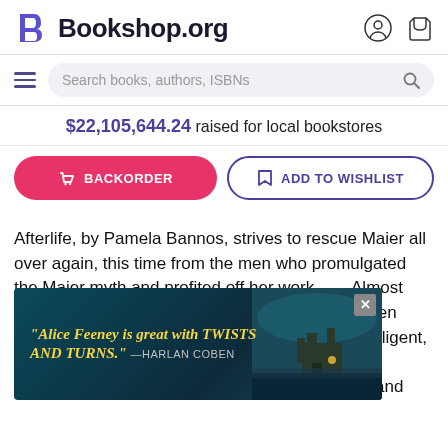Bookshop.org
Search books, authors, ISBNs
$22,105,644.24 raised for local bookstores
BACKORDER
ADD TO WISHLIST
Afterlife, by Pamela Bannos, strives to rescue Maier all over again, this time from the men who promulgated the Maier myth and profited off her work. . . . Almost point by point, Bannos refutes how Maier has been marketed. . . . The achievement of Bannos's intelligent, irritable self-reflexive study is in its restraint. She unseats the ghost and restores the original works and images as direct addresses to a viewer where it is to meet
[Figure (screenshot): Advertisement overlay with dark teal background and castle/house image: quote reading 'Alice Feeney is great with TWISTS AND TURNS.' attributed to HARLAN COBEN, with a close (X) button]